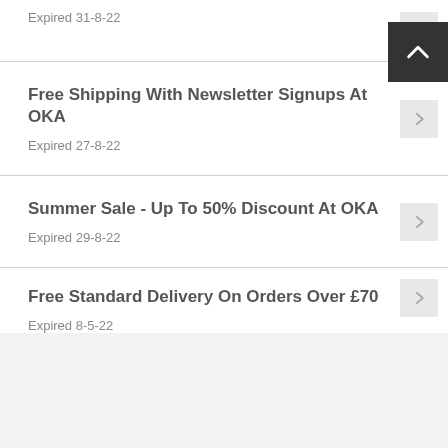Expired 31-8-22
Free Shipping With Newsletter Signups At OKA
Expired 27-8-22
Summer Sale - Up To 50% Discount At OKA
Expired 29-8-22
Free Standard Delivery On Orders Over £70
Expired 8-5-22